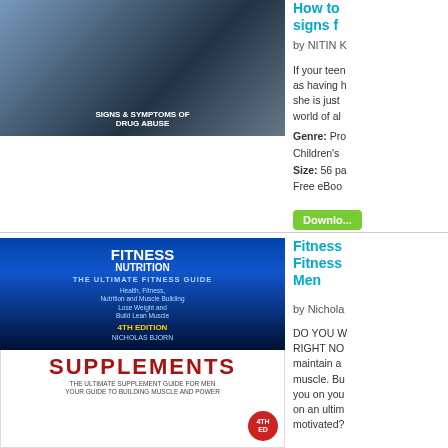[Figure (photo): Book cover for signs & symptoms of drug abuse showing a teen girl]
[Figure (other): Pin it button]
How to signs f
by NITIN K
If your teen as having h she is just world of al
Genre: Pro Children's Size: 56 pa Free eBoo
[Figure (other): Download button]
[Figure (photo): Fitness Nutrition book cover - The Ultimate Fitness Guide, 4th Edition by Nicholas Bjorn, combined with Supplements: The Ultimate Supplement Guide for Men]
Fitness Fitness Men
by Nichola
DO YOU W RIGHT NO maintain a muscle. Bu you on you on an ultim motivated?